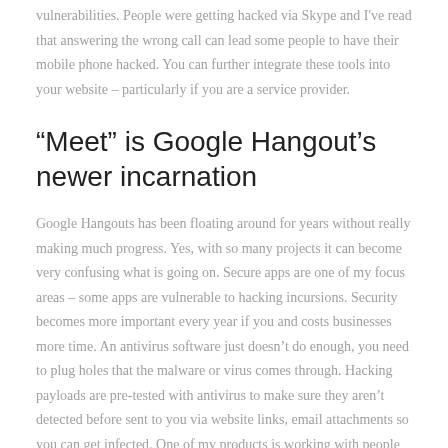vulnerabilities. People were getting hacked via Skype and I've read that answering the wrong call can lead some people to have their mobile phone hacked. You can further integrate these tools into your website – particularly if you are a service provider.
“Meet” is Google Hangout’s newer incarnation
Google Hangouts has been floating around for years without really making much progress. Yes, with so many projects it can become very confusing what is going on. Secure apps are one of my focus areas – some apps are vulnerable to hacking incursions. Security becomes more important every year if you and costs businesses more time. An antivirus software just doesn’t do enough, you need to plug holes that the malware or virus comes through. Hacking payloads are pre-tested with antivirus to make sure they aren’t detected before sent to you via website links, email attachments so you can get infected. One of my products is working with people to block vulnerabilities one layer at a time and choosing secure video conferencing